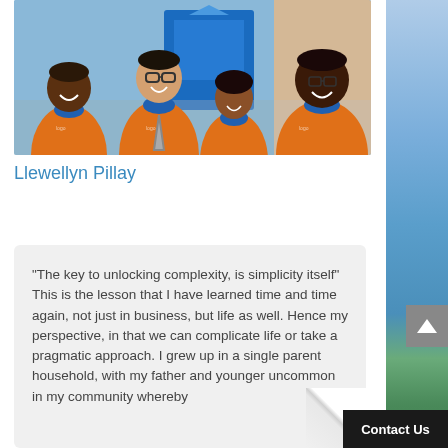[Figure (photo): Four people wearing orange polo shirts with blue trim, posing together outdoors in front of a blue-lit doorway. Three men and one woman, smiling at the camera.]
Llewellyn Pillay
“The key to unlocking complexity, is simplicity itself” This is the lesson that I have learned time and time again, not just in business, but life as well. Hence my perspective, in that we can complicate life or take a pragmatic approach. I grew up in a single parent household, with my father and younger uncommon in my community whereby